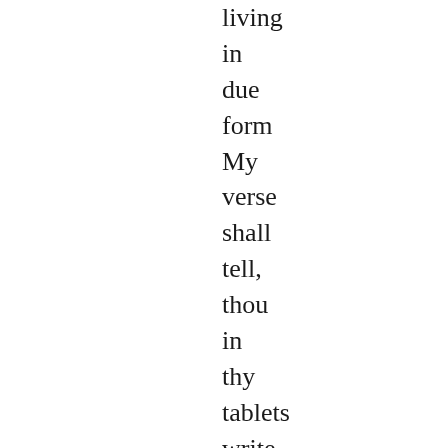living in due form My verse shall tell, thou in thy tablets write. For gods of earth and gods of heaven each three: For heavenly